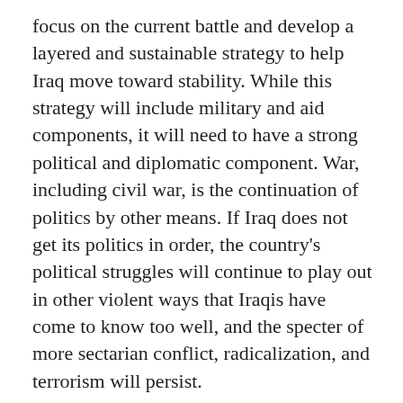focus on the current battle and develop a layered and sustainable strategy to help Iraq move toward stability. While this strategy will include military and aid components, it will need to have a strong political and diplomatic component. War, including civil war, is the continuation of politics by other means. If Iraq does not get its politics in order, the country's political struggles will continue to play out in other violent ways that Iraqis have come to know too well, and the specter of more sectarian conflict, radicalization, and terrorism will persist.
First, to be sure, a defeat of the Islamic State in Mosul will not be the end of the kinetic battle against the terrorist organization in Iraq. Though 70 percent of Mosul has been liberated, there are still an estimated 400,000 people behind Islamic State lines in the city. A fair number of these are families of Islamic State fighters who came to Mosul from Diyala, Anbar, and